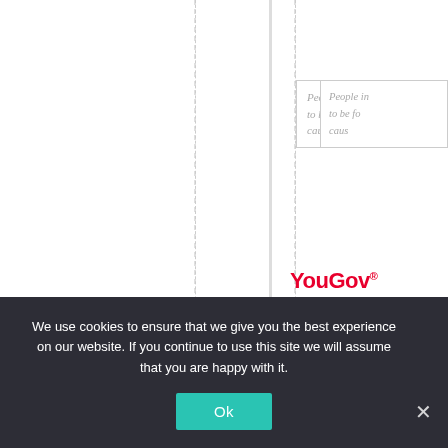[Figure (screenshot): YouGov website screenshot showing dashed vertical guide lines, a solid vertical axis line with a small square tick mark, the YouGov logo in red, and vertically rotated text reading 'Australia' along a chart axis. Top-right shows a partially visible callout box with italic grey text starting 'People in... to be fo... caus...']
People in
to be fo
caus
YouGov
Australia
We use cookies to ensure that we give you the best experience on our website. If you continue to use this site we will assume that you are happy with it.
Ok